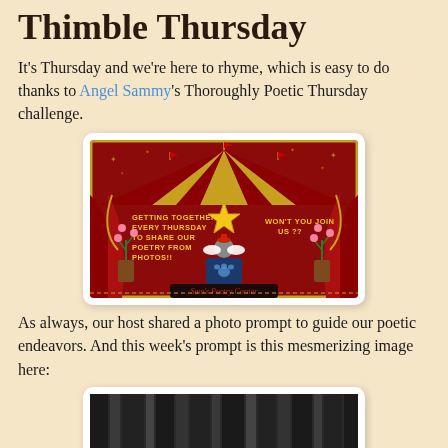Thimble Thursday
It's Thursday and we're here to rhyme, which is easy to do thanks to Angel Sammy's Thoroughly Poetic Thursday challenge.
[Figure (illustration): Circus-themed banner for Sam's Poetry Corner showing a big top tent with red and gold stripes, red curtains, a cat angel on a podium, flowers, stars, and text: GETTING TOGETHER EVERY THURSDAY TO SHARE OUR POETRY FROM PHOTOS!! / WON'T YOU JOIN US ?? / Sam's Poetry Corner]
As always, our host shared a photo prompt to guide our poetic endeavors. And this week's prompt is this mesmerizing image here:
[Figure (photo): Partially visible photo showing dark vertical streaks, possibly a forest or curtain scene.]